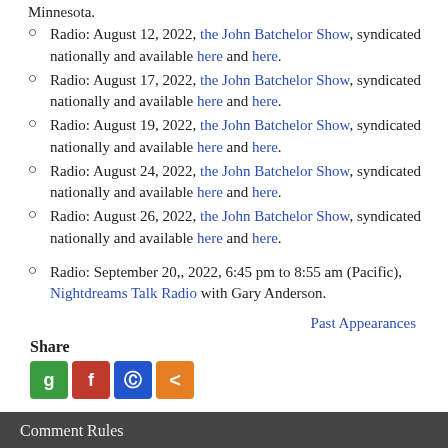Minnesota.
Radio: August 12, 2022, the John Batchelor Show, syndicated nationally and available here and here.
Radio: August 17, 2022, the John Batchelor Show, syndicated nationally and available here and here.
Radio: August 19, 2022, the John Batchelor Show, syndicated nationally and available here and here.
Radio: August 24, 2022, the John Batchelor Show, syndicated nationally and available here and here.
Radio: August 26, 2022, the John Batchelor Show, syndicated nationally and available here and here.
Radio: September 20,, 2022, 6:45 pm to 8:55 am (Pacific), Nightdreams Talk Radio with Gary Anderson.
Past Appearances
Share
[Figure (other): Social share buttons: green g button, red f button, blue P button, orange share button]